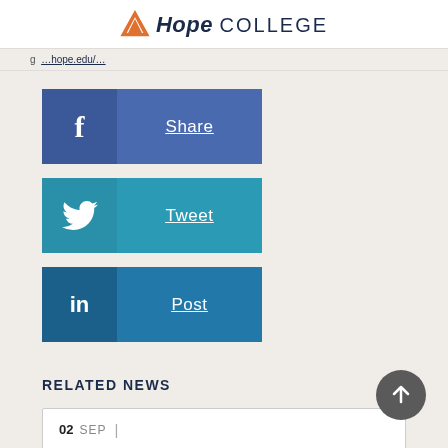Hope COLLEGE
g ...hope.edu/...
[Figure (infographic): Facebook Share button - blue rectangle with f icon and Share label]
[Figure (infographic): Twitter Tweet button - teal rectangle with bird icon and Tweet label]
[Figure (infographic): LinkedIn Post button - dark blue rectangle with in icon and Post label]
RELATED NEWS
02 SEP | CPS TO OPEN WITH LEADING JAZZ